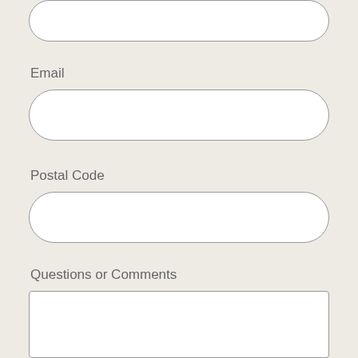[Figure (screenshot): Partial rounded rectangle input field at top of page (cropped)]
Email
[Figure (screenshot): Empty rounded rectangle input field for Email]
Postal Code
[Figure (screenshot): Empty rounded rectangle input field for Postal Code]
Questions or Comments
[Figure (screenshot): Empty rectangular textarea for Questions or Comments]